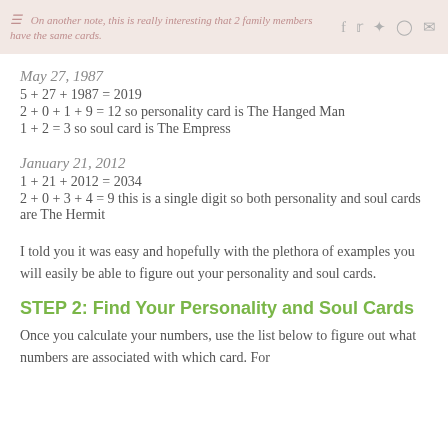On another note, this is really interesting that 2 family members have the same cards.
May 27, 1987
5 + 27 + 1987 = 2019
2 + 0 + 1 + 9 = 12 so personality card is The Hanged Man
1 + 2 = 3 so soul card is The Empress
January 21, 2012
1 + 21 + 2012 = 2034
2 + 0 + 3 + 4 = 9 this is a single digit so both personality and soul cards are The Hermit
I told you it was easy and hopefully with the plethora of examples you will easily be able to figure out your personality and soul cards.
STEP 2: Find Your Personality and Soul Cards
Once you calculate your numbers, use the list below to figure out what numbers are associated with which card. For